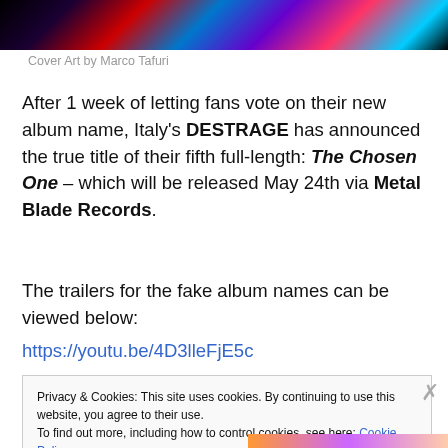[Figure (photo): Colorful abstract cover art with red, blue, purple, and black swooping shapes on dark background — top portion visible]
Cover Art by Marco Tafuri
After 1 week of letting fans vote on their new album name, Italy's DESTRAGE has announced the true title of their fifth full-length: The Chosen One – which will be released May 24th via Metal Blade Records.
The trailers for the fake album names can be viewed below:
https://youtu.be/4D3lleFjE5c
Privacy & Cookies: This site uses cookies. By continuing to use this website, you agree to their use.
To find out more, including how to control cookies, see here: Cookie Policy
Close and accept